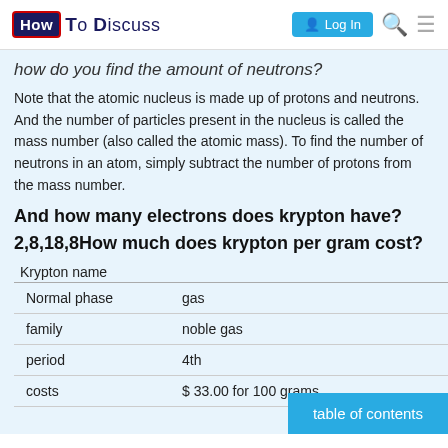How To Discuss — Log In
how do you find the amount of neutrons?
Note that the atomic nucleus is made up of protons and neutrons. And the number of particles present in the nucleus is called the mass number (also called the atomic mass). To find the number of neutrons in an atom, simply subtract the number of protons from the mass number.
And how many electrons does krypton have?
2,8,18,8How much does krypton per gram cost?
| Krypton name |  |
| --- | --- |
| Normal phase | gas |
| family | noble gas |
| period | 4th |
| costs | $ 33.00 for 100 grams |
table of contents